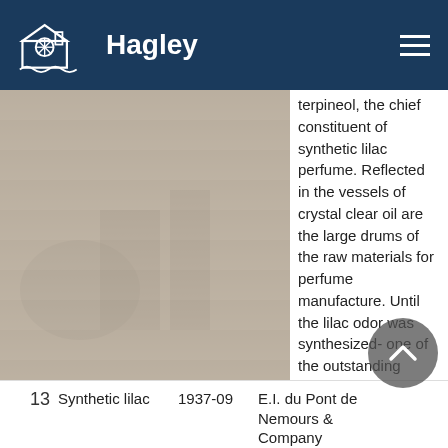Hagley
terpineol, the chief constituent of synthetic lilac perfume. Reflected in the vessels of crystal clear oil are the large drums of the raw materials for perfume manufacture. Until the lilac odor was synthesized- one of the outstanding achievements
| # | Title | Date | Company |
| --- | --- | --- | --- |
| 13 | Synthetic lilac | 1937-09 | E.I. du Pont de Nemours & Company |